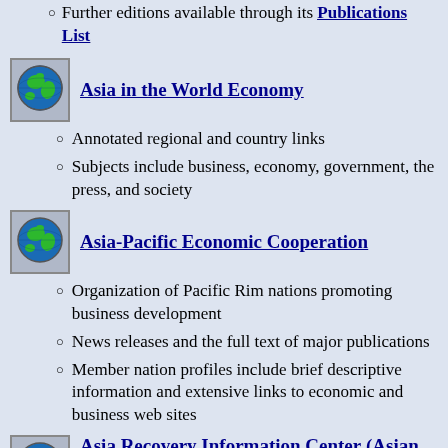Further editions available through its Publications List
Asia in the World Economy
Annotated regional and country links
Subjects include business, economy, government, the press, and society
Asia-Pacific Economic Cooperation
Organization of Pacific Rim nations promoting business development
News releases and the full text of major publications
Member nation profiles include brief descriptive information and extensive links to economic and business web sites
Asia Recovery Information Center (Asian Development Bank)
News on its recovery-related content including Indonesia...